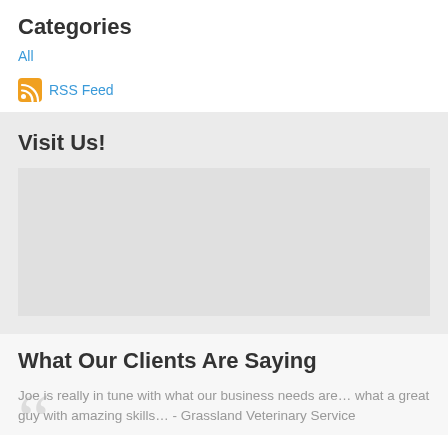Categories
All
RSS Feed
Visit Us!
[Figure (map): Map placeholder area showing a location map]
What Our Clients Are Saying
Joe is really in tune with what our business needs are… what a great guy with amazing skills… - Grassland Veterinary Service